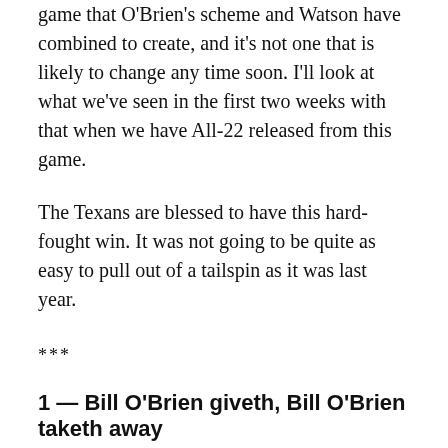game that O'Brien's scheme and Watson have combined to create, and it's not one that is likely to change any time soon. I'll look at what we've seen in the first two weeks with that when we have All-22 released from this game.
The Texans are blessed to have this hard-fought win. It was not going to be quite as easy to pull out of a tailspin as it was last year.
***
1 — Bill O'Brien giveth, Bill O'Brien taketh away
First of all, let me give some actual praise to O'Brien for going for it on fourth-and-1, up 3, at the Jacksonville 2, with 11:35 to play. That's not an NFL gimme. There are many coaches, including Bruce Arians on Thursday Night Football, who kick that field goal to go up six and get beat. It was the primary decision that O'Brien made that